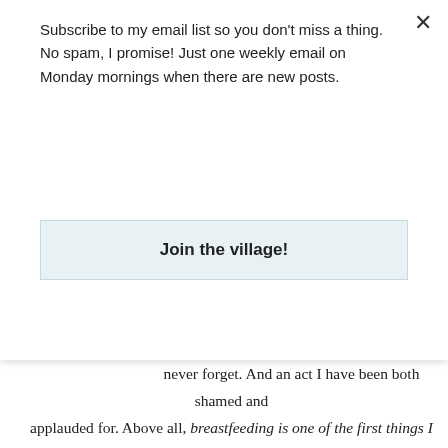Subscribe to my email list so you don't miss a thing. No spam, I promise! Just one weekly email on Monday mornings when there are new posts.
Join the village!
never forget. And an act I have been both shamed and applauded for. Above all, breastfeeding is one of the first things I have ever felt truly good at. My milk has fed more babies than my own, more than I can count on my two hands. Never easy, not always beautiful, but it is mine. Happy World Breastfeeding Week to all my milky mamas. No matter how long your journey is, was, or has been."
~Shannon http://www.muchmostdarling.com/
A promise of privacy and authenticity, and all of f...